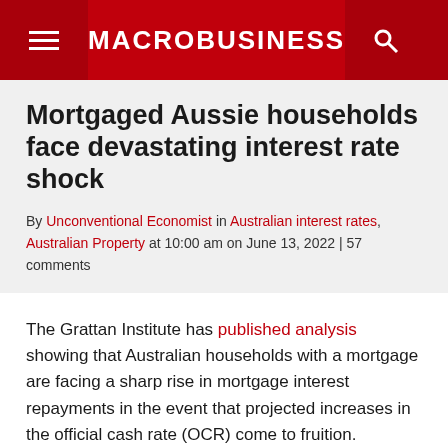MACROBUSINESS
Mortgaged Aussie households face devastating interest rate shock
By Unconventional Economist in Australian interest rates, Australian Property at 10:00 am on June 13, 2022 | 57 comments
The Grattan Institute has published analysis showing that Australian households with a mortgage are facing a sharp rise in mortgage interest repayments in the event that projected increases in the official cash rate (OCR) come to fruition.